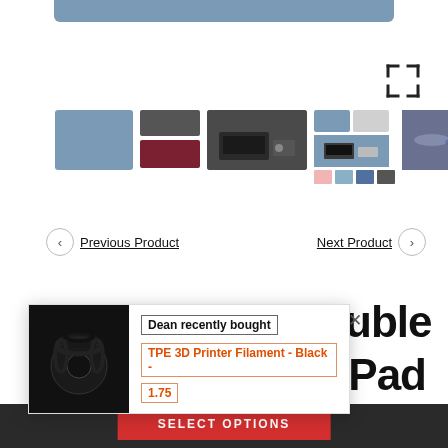[Figure (screenshot): Top portion of a blue rounded bar, partially visible at the very top of the page]
[Figure (screenshot): Product image carousel showing multiple thumbnail images of desk pads/mouse pads in various colors with a fullscreen expand icon in the top right]
‹ Previous Product
Next Product ›
800*400mm Double Side Desk Mouse Pad
[Figure (screenshot): Popup notification showing a recently purchased product - TPE 3D Printer Filament Black 1.75, with a product thumbnail image of black filament spool]
Dean recently bought
TPE 3D Printer Filament - Black -
1.75
SELECT OPTIONS